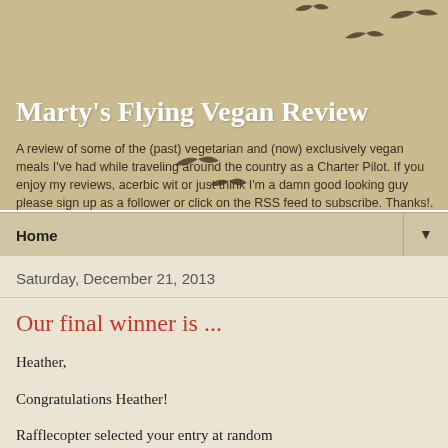Marty's Flying Vegan Review
A review of some of the (past) vegetarian and (now) exclusively vegan meals I've had while traveling around the country as a Charter Pilot. If you enjoy my reviews, acerbic wit or just think I'm a damn good looking guy please sign up as a follower or click on the RSS feed to subscribe. Thanks!.
Home
Saturday, December 21, 2013
Our final winner is ...
Heather,
Congratulations Heather!
Rafflecopter selected your entry at random